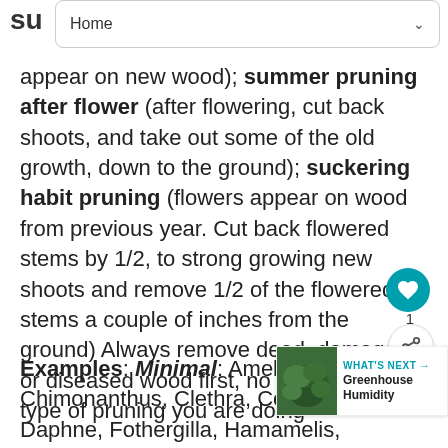su  Home
appear on new wood); summer pruning after flower (after flowering, cut back shoots, and take out some of the old growth, down to the ground); suckering habit pruning (flowers appear on wood from previous year. Cut back flowered stems by 1/2, to strong growing new shoots and remove 1/2 of the flowered stems a couple of inches from the ground) Always remove dead, damaged or diseased wood first, no matter what type of pruning you are doing
Examples: Minimal: Amelanchier, Aronia, Chimonanthus, Clethra, Cornus al... Daphne, Fothergilla, Hamamelis, Poncirus,